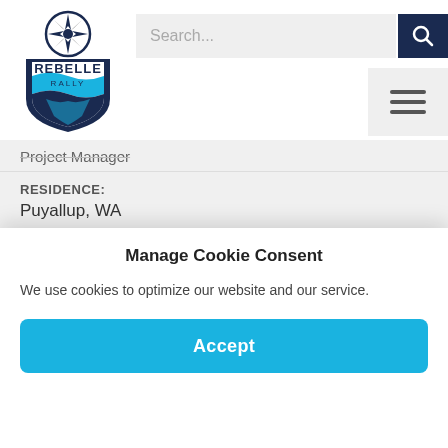[Figure (logo): Rebelle Rally logo — compass rose above a shield with waves and the text REBELLE RALLY]
Search...
Project Manager
RESIDENCE:
Puyallup, WA
FAVORITE QUOTE:
Manage Cookie Consent
We use cookies to optimize our website and our service.
Accept